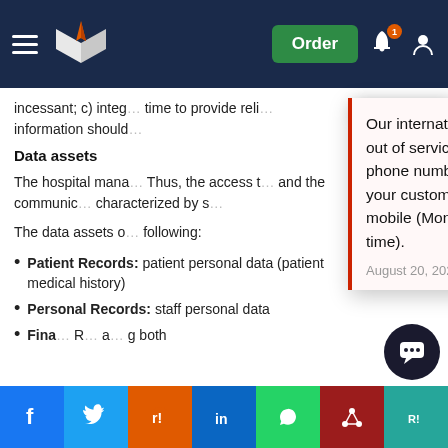Order
incessant; c) integ… time to provide reli… information should…
Data assets
The hospital mana… Thus, the access t… and the communic… characterized by s…
The data assets o… following:
[Figure (infographic): Popup notification: 'Our international phone number (+971 600 575 297) is currently out of service. Whilst we fix this, please use the alternative phone numbers provided on the contact page, message through your customer account or click the WhatsApp button from your mobile (Monday – Friday 9am – 5pm, Saturday 10am – 6pm UK time). August 20, 2022']
Patient Records: patient personal data (patient medical history)
Personal Records: staff personal data
Financial R… a… g both …